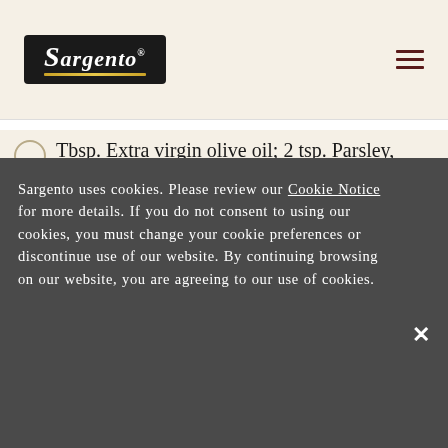Sargento logo and navigation
Tbsp. Extra virgin olive oil; 2 tsp. Parsley, finely chopped; 1 tsp. Rosemary, finely chopped; 1 tsp. Chives, finely chopped; ¼ tsp. garlic powder; 1 cup cooked macaroni, cooled; ½ cup Sargento® Shredded Creamery
Di...
Sargento uses cookies. Please review our Cookie Notice for more details. If you do not consent to using our cookies, you must change your cookie preferences or discontinue use of our website. By continuing browsing on our website, you are agreeing to our use of cookies.